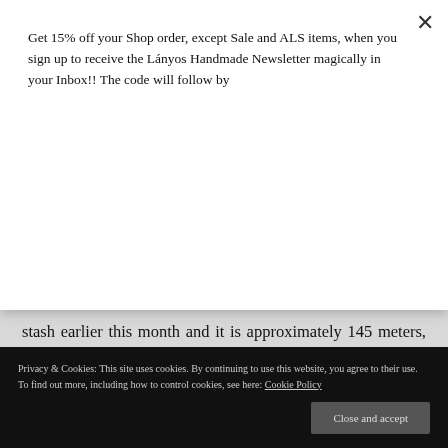Get 15% off your Shop order, except Sale and ALS items, when you sign up to receive the Lányos Handmade Newsletter magically in your Inbox!! The code will follow by
Subscribe!
stash earlier this month and it is approximately 145 meters, give or take a few scraps only. I plan on keeping a counter at the end of each project post and I want to be at least 10% lighter by the end of the year, hopefully more!
Privacy & Cookies: This site uses cookies. By continuing to use this website, you agree to their use. To find out more, including how to control cookies, see here: Cookie Policy
Close and accept